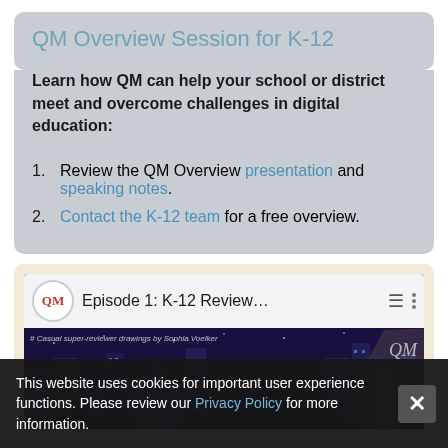QM Overview Session for K-12
Learn how QM can help your school or district meet and overcome challenges in digital education:
1. Review the QM Overview presentation and speaking notes.
2. Contact the K-12 team for a free overview.
[Figure (screenshot): YouTube-style video player thumbnail showing Episode 1: K-12 Review... with QM logo, animated city scene with spotlight, and super-reviewer drawing by Sophia Voelker watermark]
This website uses cookies for important user experience functions. Please review our Privacy Policy for more information.